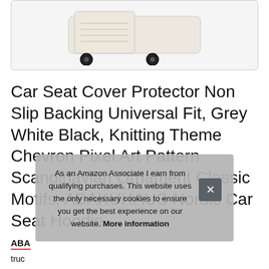[Figure (photo): Product photo of a car seat cover on a stroller/car seat, cream/beige color with black wheels visible, shown inside a rounded rectangle border box.]
Car Seat Cover Protector Non Slip Backing Universal Fit, Grey White Black, Knitting Theme Chevron Pixel Art Pattern Scandinavian Ornament Classic Motifs, ABAKUHAUS Nordic Car Seat Hoodie
ABA
truc
slipp
As an Amazon Associate I earn from qualifying purchases. This website uses the only necessary cookies to ensure you get the best experience on our website. More information